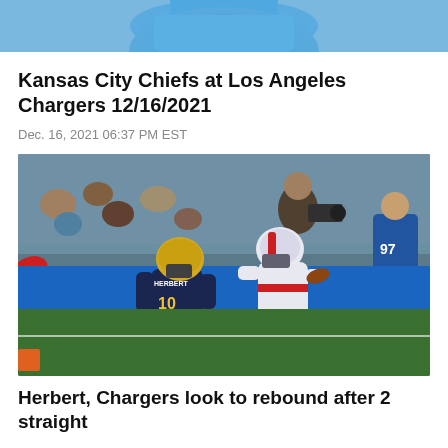[Figure (photo): Cropped top portion of a person wearing a blue shirt, appearing to be a coach or player, only torso and bottom of head visible]
Kansas City Chiefs at Los Angeles Chargers 12/16/2021
Dec. 16, 2021 06:37 PM EST
[Figure (photo): Football game photo showing Los Angeles Chargers quarterback Justin Herbert (#10) in dark navy uniform and a New England Patriots player in white uniform running on the field. Blue stadium wall visible in background with fans and a player wearing #97 in a Chargers jersey.]
Herbert, Chargers look to rebound after 2 straight